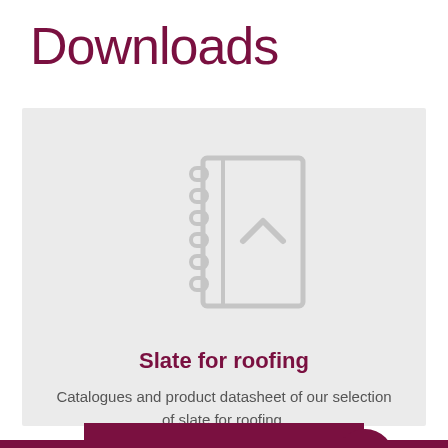Downloads
[Figure (illustration): Icon of a spiral-bound notebook/catalogue with a chevron (up arrow) symbol on the cover, rendered in light grey outline style]
Slate for roofing
Catalogues and product datasheet of our selection of slate for roofing.
ACCESS DOCUMENTS